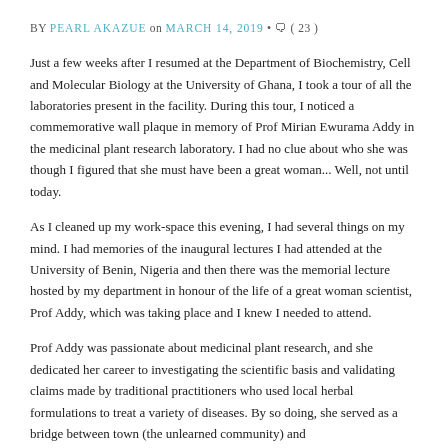BY PEARL AKAZUE on MARCH 14, 2019 • ( 23 )
Just a few weeks after I resumed at the Department of Biochemistry, Cell and Molecular Biology at the University of Ghana, I took a tour of all the laboratories present in the facility. During this tour, I noticed a commemorative wall plaque in memory of Prof Mirian Ewurama Addy in the medicinal plant research laboratory. I had no clue about who she was though I figured that she must have been a great woman... Well, not until today.
As I cleaned up my work-space this evening, I had several things on my mind. I had memories of the inaugural lectures I had attended at the University of Benin, Nigeria and then there was the memorial lecture hosted by my department in honour of the life of a great woman scientist, Prof Addy, which was taking place and I knew I needed to attend.
Prof Addy was passionate about medicinal plant research, and she dedicated her career to investigating the scientific basis and validating claims made by traditional practitioners who used local herbal formulations to treat a variety of diseases. By so doing, she served as a bridge between town (the unlearned community) and